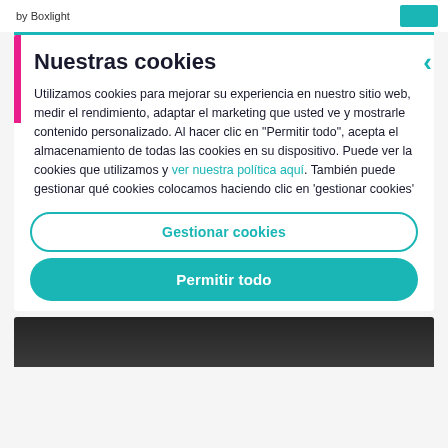by Boxlight
Nuestras cookies
Utilizamos cookies para mejorar su experiencia en nuestro sitio web, medir el rendimiento, adaptar el marketing que usted ve y mostrarle contenido personalizado. Al hacer clic en "Permitir todo", acepta el almacenamiento de todas las cookies en su dispositivo. Puede ver la cookies que utilizamos y ver nuestra política aquí. También puede gestionar qué cookies colocamos haciendo clic en 'gestionar cookies'
Gestionar cookies
Permitir todo
[Figure (photo): Dark background image at the bottom of the page]